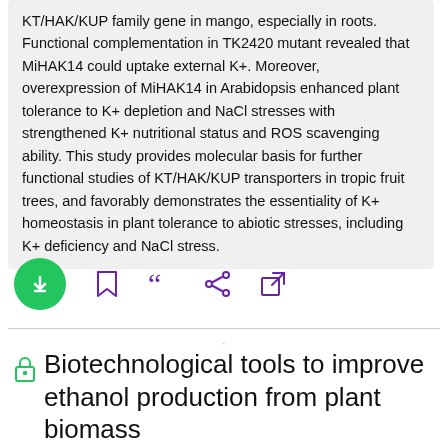KT/HAK/KUP family gene in mango, especially in roots. Functional complementation in TK2420 mutant revealed that MiHAK14 could uptake external K+. Moreover, overexpression of MiHAK14 in Arabidopsis enhanced plant tolerance to K+ depletion and NaCl stresses with strengthened K+ nutritional status and ROS scavenging ability. This study provides molecular basis for further functional studies of KT/HAK/KUP transporters in tropic fruit trees, and favorably demonstrates the essentiality of K+ homeostasis in plant tolerance to abiotic stresses, including K+ deficiency and NaCl stress.
[Figure (other): Action bar with download (green circle with down arrow), bookmark, cite (quotation marks), share, and external link icons]
Biotechnological tools to improve ethanol production from plant biomass
Nova Biotechnologica et Chimica □ 10.36547/nbc.1360 □ 2022 □ Vol 7 (1) □ pp. 63-68 Author(s): Juraj Faragó Keyword(s): Renewable E...